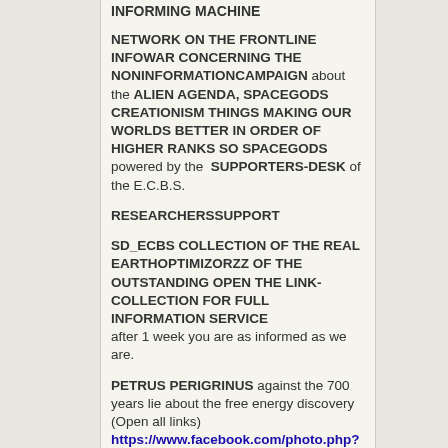INFORMING MACHINE
NETWORK ON THE FRONTLINE INFOWAR CONCERNING THE NONINFORMATIONCAMPAIGN about the ALIEN AGENDA, SPACEGODS CREATIONISM THINGS MAKING OUR WORLDS BETTER IN ORDER OF HIGHER RANKS SO SPACEGODS powered by the SUPPORTERS-DESK of the E.C.B.S.
RESEARCHERSSUPPORT
SD_ECBS COLLECTION OF THE REAL EARTHOPTIMIZORZZ OF THE OUTSTANDING OPEN THE LINK-COLLECTION FOR FULL INFORMATION SERVICE after 1 week you are as informed as we are.
PETRUS PERIGRINUS against the 700 years lie about the free energy discovery (Open all links) https://www.facebook.com/photo.php?fbid … =3&theater https://www.facebook.com/media/set/?set … 376&type=3
JOHNSON free running magnetic engines for a pollution free world